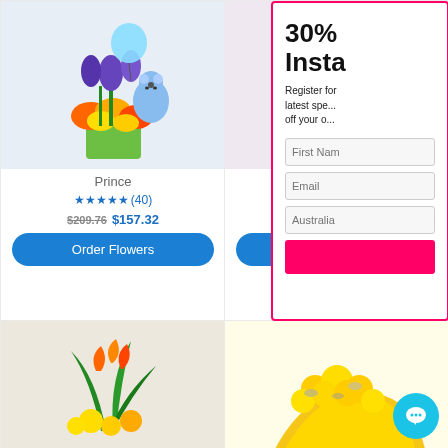[Figure (photo): Product photo: Prince flower arrangement with blue teddy bear, balloon and colorful flowers in green vase]
Prince
★★★★★(40)
$209.76  $157.32
Order Flowers
[Figure (photo): Product photo: Princess flower arrangement with pink teddy bear, balloon and pink flowers in green vase]
Princess
★★★★½(74)
$202.68  $152.0
Order Flowers
[Figure (screenshot): Popup promotional overlay: 30% Insta... Register for latest spe... off your o... with First Name, Email, Australian phone fields and pink button]
[Figure (photo): Product photo: Tropical flower arrangement with birds of paradise and yellow chrysanthemums]
[Figure (photo): Product photo: Yellow rose bouquet wrapped in yellow paper]
[Figure (illustration): Cyan circular chat button with speech bubble icon]